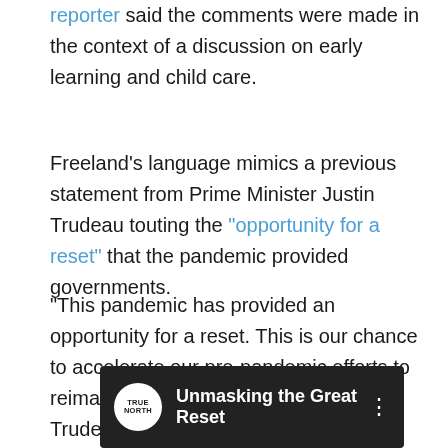reporter said the comments were made in the context of a discussion on early learning and child care.
Freeland's language mimics a previous statement from Prime Minister Justin Trudeau touting the "opportunity for a reset" that the pandemic provided governments.
“This pandemic has provided an opportunity for a reset. This is our chance to accelerate our pre-pandemic efforts to reimagine economic systems.." said Trudeau.
[Figure (screenshot): Video thumbnail showing 'Unmasking the Great Reset' with True North logo and a person's image on dark background]